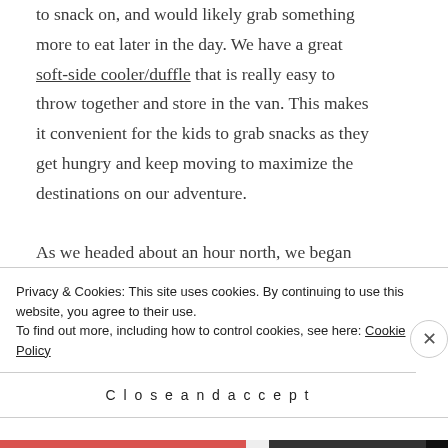to snack on, and would likely grab something more to eat later in the day. We have a great soft-side cooler/duffle that is really easy to throw together and store in the van. This makes it convenient for the kids to grab snacks as they get hungry and keep moving to maximize the destinations on our adventure.
As we headed about an hour north, we began exploring the back roads through Elkhart Lake ultimately reaching our second destination: Lincoln Park Zoo in Manitowoc. They really enjoyed...
Privacy & Cookies: This site uses cookies. By continuing to use this website, you agree to their use.
To find out more, including how to control cookies, see here: Cookie Policy
Close and accept